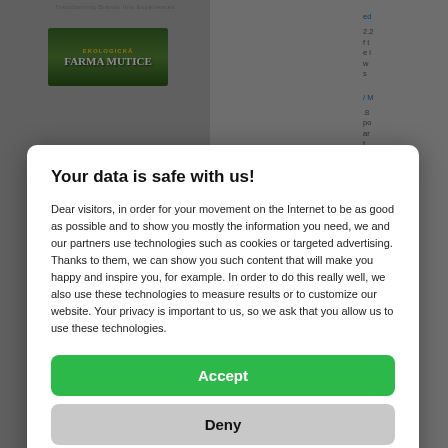[Figure (screenshot): Background webpage screenshot with farm image and text fragments, partially obscured by modal overlay]
Your data is safe with us!
Dear visitors, in order for your movement on the Internet to be as good as possible and to show you mostly the information you need, we and our partners use technologies such as cookies or targeted advertising. Thanks to them, we can show you such content that will make you happy and inspire you, for example. In order to do this really well, we also use these technologies to measure results or to customize our website. Your privacy is important to us, so we ask that you allow us to use these technologies.
Accept
Deny
Set